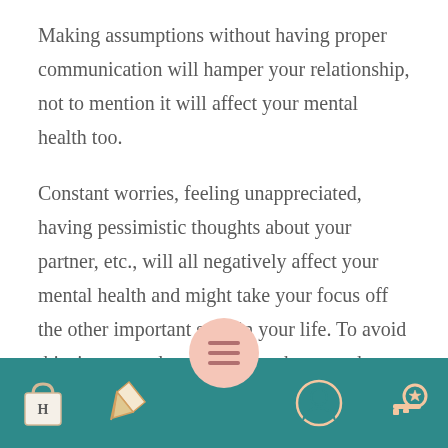Making assumptions without having proper communication will hamper your relationship, not to mention it will affect your mental health too.
Constant worries, feeling unappreciated, having pessimistic thoughts about your partner, etc., will all negatively affect your mental health and might take your focus off the other important stuff in your life. To avoid this, just try to have a heart-to-heart so that none of you unwarrantedly harm the other one.
[Figure (infographic): Navigation bar with teal background containing four icons: a shopping bag with 'H', a pen/quill, a profile/person icon, and a key icon. A pink circular menu button is centered above the bar.]